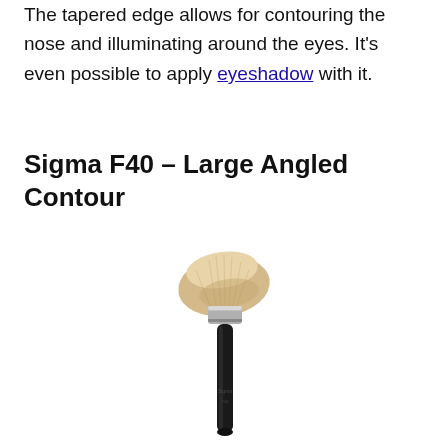The tapered edge allows for contouring the nose and illuminating around the eyes. It's even possible to apply eyeshadow with it.
Sigma F40 – Large Angled Contour
[Figure (photo): A makeup brush with a large angled contour head, cream/beige colored bristles fanning out at an angle, a silver ferrule, and a long black handle with Sigma branding text.]